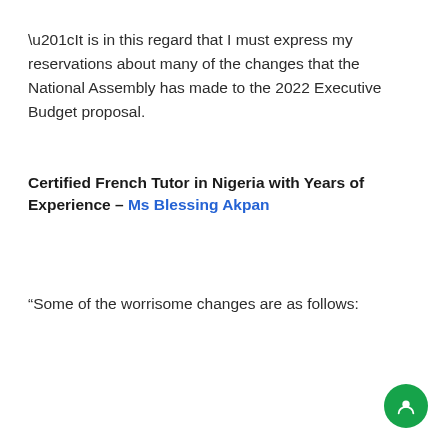“It is in this regard that I must express my reservations about many of the changes that the National Assembly has made to the 2022 Executive Budget proposal.
Certified French Tutor in Nigeria with Years of Experience – Ms Blessing Akpan
“Some of the worrisome changes are as follows: